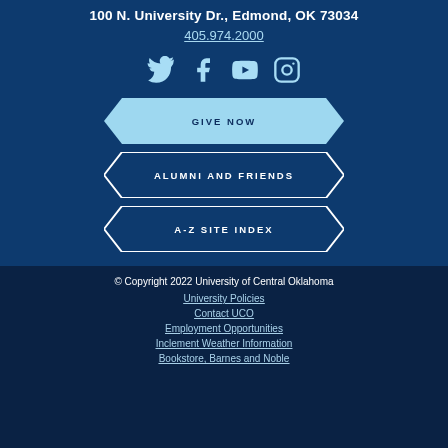100 N. University Dr., Edmond, OK 73034
405.974.2000
[Figure (illustration): Social media icons: Twitter, Facebook, YouTube, Instagram]
GIVE NOW
ALUMNI AND FRIENDS
A-Z SITE INDEX
© Copyright 2022 University of Central Oklahoma
University Policies
Contact UCO
Employment Opportunities
Inclement Weather Information
Bookstore, Barnes and Noble